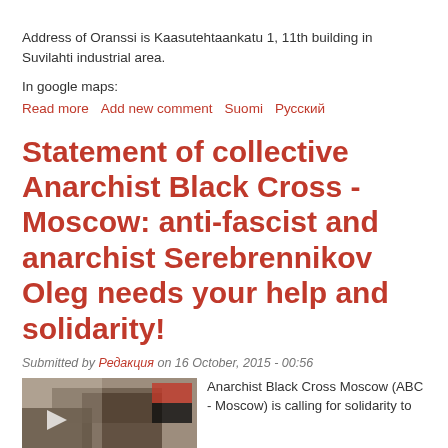Address of Oranssi is Kaasutehtaankatu 1, 11th building in Suvilahti industrial area.
In google maps:
Read more   Add new comment   Suomi   Русский
Statement of collective Anarchist Black Cross - Moscow: anti-fascist and anarchist Serebrennikov Oleg needs your help and solidarity!
Submitted by Редакция on 16 October, 2015 - 00:56
[Figure (photo): Photo of protest with banner, people holding flags including a red and black anarchist flag]
Anarchist Black Cross Moscow (ABC - Moscow) is calling for solidarity to